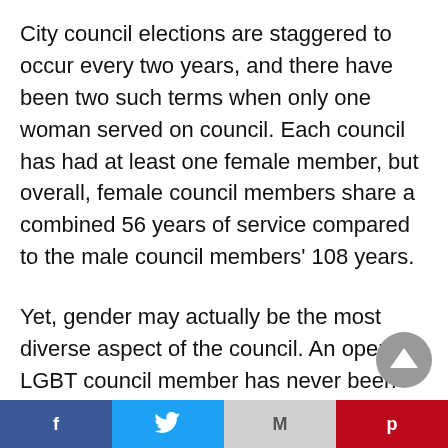City council elections are staggered to occur every two years, and there have been two such terms when only one woman served on council. Each council has had at least one female member, but overall, female council members share a combined 56 years of service compared to the male council members’ 108 years.
Yet, gender may actually be the most diverse aspect of the council. An openly LGBT council member has never been elected to citywide office.
But the area of diversity in which the city council
Facebook | Twitter | Gmail | Pinterest